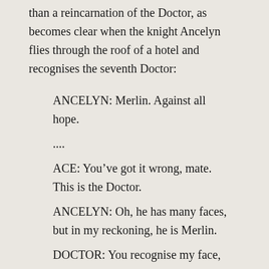than a reincarnation of the Doctor, as becomes clear when the knight Ancelyn flies through the roof of a hotel and recognises the seventh Doctor:
ANCELYN: Merlin. Against all hope.
....
ACE: You've got it wrong, mate. This is the Doctor.
ANCELYN: Oh, he has many faces, but in my reckoning, he is Merlin.
DOCTOR: You recognise my face, then?
ANCELYN: No, not your aspect, but your manner that betrays you. Do you not ride the ship of time? Does it not deceive the senses